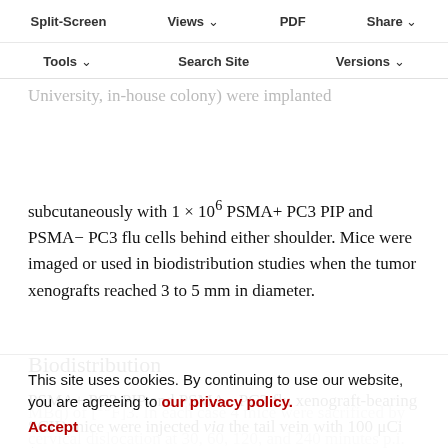Split-Screen | Views | PDF | Share | Tools | Search Site | Versions
conduct of animal experiments of the local Animal Care and Use Committee. For biodistribution and imaging studies of [... ] male NOD/SCID mice (Hopkins University, in-house colony) were implanted subcutaneously with 1 × 10⁶ PSMA+ PC3 PIP and PSMA− PC3 flu cells behind either shoulder. Mice were imaged or used in biodistribution studies when the tumor xenografts reached 3 to 5 mm in diameter.
Biodistribution
PSMA+ PC3 PIP and PSMA− PC3 flu xenograft-bearing SCID mice were injected via the tail vein with 100 μCi (3.7 MBq) of [¹⁵F]3. In each case 4 mice were sacrificed by cervical dislocation at 30, 60, 120, and 240 minutes p.i. The heart, lungs, liver, stomach, pancreas, spleen, kidney, muscle, bone, small and large intestines, urinary bladder
This site uses cookies. By continuing to use our website, you are agreeing to our privacy policy. Accept